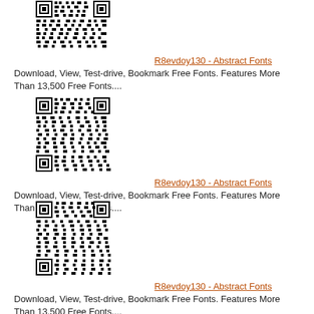[Figure (other): QR code image linking to R8evdoy130 - Abstract Fonts]
R8evdoy130 - Abstract Fonts
Download, View, Test-drive, Bookmark Free Fonts. Features More Than 13,500 Free Fonts....
[Figure (other): QR code image linking to R8evdoy130 - Abstract Fonts]
R8evdoy130 - Abstract Fonts
Download, View, Test-drive, Bookmark Free Fonts. Features More Than 13,500 Free Fonts....
[Figure (other): QR code image linking to R8evdoy130 - Abstract Fonts]
R8evdoy130 - Abstract Fonts
Download, View, Test-drive, Bookmark Free Fonts. Features More Than 13,500 Free Fonts....